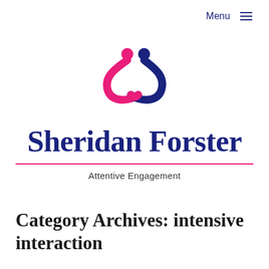Menu ≡
[Figure (logo): Sheridan Forster logo: two intertwined figures in pink and navy blue forming an infinity-like shape, with small circles representing heads]
Sheridan Forster
Attentive Engagement
Category Archives: intensive interaction